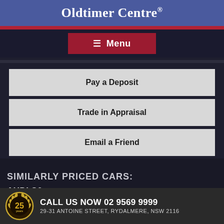Oldtimer Centre®
Menu
Pay a Deposit
Trade in Appraisal
Email a Friend
SIMILARLY PRICED CARS:
AUDI S6
CALL US NOW 02 9569 9999
29-31 ANTOINE STREET, RYDALMERE, NSW 2116